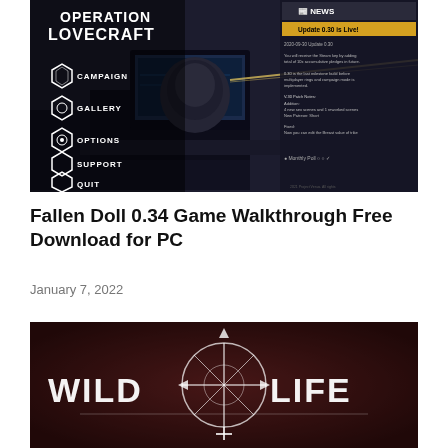[Figure (screenshot): Screenshot of 'Operation Lovecraft' game main menu showing a sci-fi/horror themed interface with hexagonal menu buttons (Campaign, Gallery, Options, Support, Quit) on the left and a news panel on the right with a yellow banner reading 'Update 0.30 is Live!' and patch notes. The background shows a dark room with equipment.]
Fallen Doll 0.34 Game Walkthrough Free Download for PC
January 7, 2022
[Figure (screenshot): Screenshot showing the title screen of the game 'Wildlife' with a stylized logo featuring crossed arrows and a circular web/star symbol, displayed in white text on a dark reddish-brown background.]